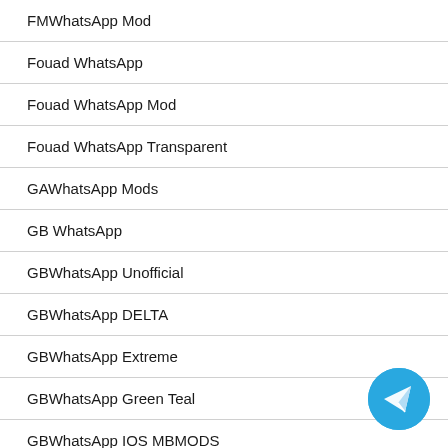FMWhatsApp Mod
Fouad WhatsApp
Fouad WhatsApp Mod
Fouad WhatsApp Transparent
GAWhatsApp Mods
GB WhatsApp
GBWhatsApp Unofficial
GBWhatsApp DELTA
GBWhatsApp Extreme
GBWhatsApp Green Teal
GBWhatsApp IOS MBMODS
GBWhatsApp MiNi
GBWhatsApp Pro
[Figure (illustration): Telegram send button icon — blue circle with white paper airplane]